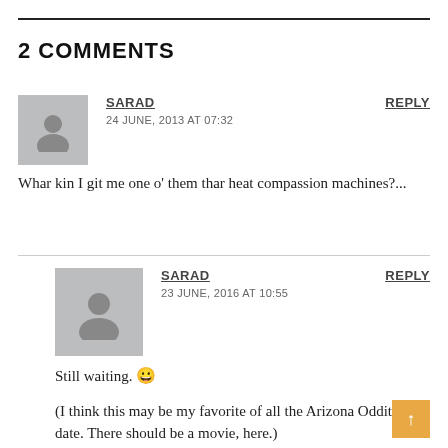2 COMMENTS
SARAD
24 JUNE, 2013 AT 07:32
Whar kin I git me one o' them thar heat compassion machines?...
SARAD
23 JUNE, 2016 AT 10:55
Still waiting. 😀

(I think this may be my favorite of all the Arizona Oddities to date. There should be a movie, here.)